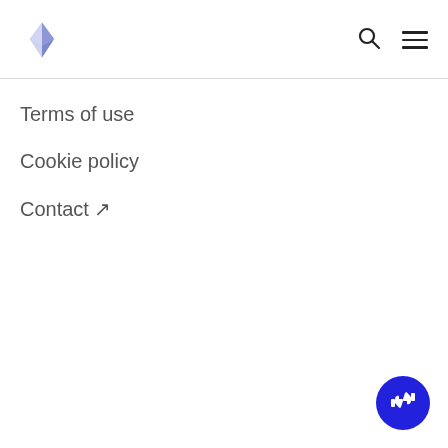Ethereum logo, search icon, menu icon
Terms of use
Cookie policy
Contact ↗
[Figure (illustration): Blue circular feedback button with thumbs up/down icon in bottom-right corner]